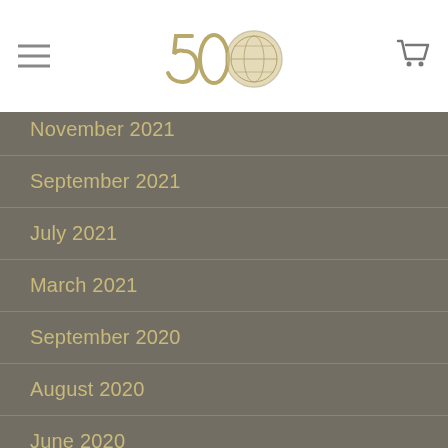[logo and navigation header]
November 2021
September 2021
July 2021
March 2021
September 2020
August 2020
June 2020
March 2020
February 2020